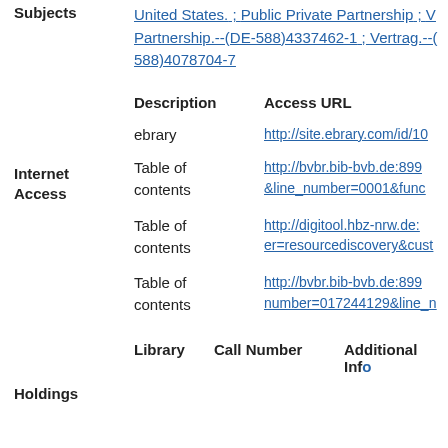Subjects: United States. ; Public Private Partnership ; Partnership.--(DE-588)4337462-1 ; Vertrag.--(DE-588)4078704-7
| Description | Access URL |
| --- | --- |
| ebrary | http://site.ebrary.com/id/10... |
| Table of contents | http://bvbr.bib-bvb.de:899...&line_number=0001&func... |
| Table of contents | http://digitool.hbz-nrw.de:...er=resourcediscovery&cust... |
| Table of contents | http://bvbr.bib-bvb.de:899...number=017244129&line_n... |
| Library | Call Number | Additional Info |
| --- | --- | --- |
Internet Access
Holdings